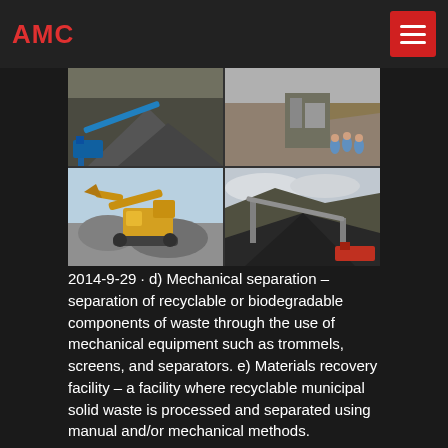AMC
[Figure (photo): Four-panel photo grid showing mining/quarrying and mechanical separation equipment: top-left shows conveyor belts and aggregate piles at a mining site; top-right shows a quarry with workers and crushing equipment; bottom-left shows a yellow excavator/mobile crusher working on rock piles; bottom-right shows a large conveyor belt system over a coal or aggregate stockpile.]
2014-9-29 · d) Mechanical separation – separation of recyclable or biodegradable components of waste through the use of mechanical equipment such as trommels, screens, and separators. e) Materials recovery facility – a facility where recyclable municipal solid waste is processed and separated using manual and/or mechanical methods.